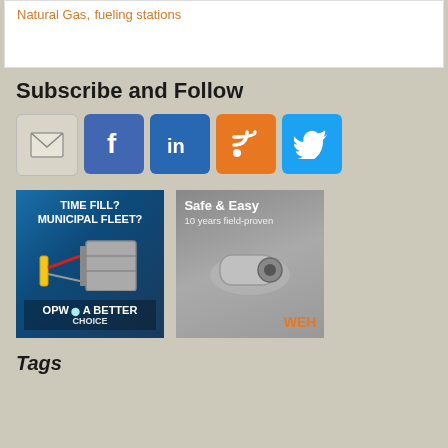Natural Gas, fueling stations
Subscribe and Follow
[Figure (infographic): Social media icons row: email envelope, Facebook, LinkedIn, RSS, Twitter]
[Figure (infographic): OPW ad: TIME FILL? MUNICIPAL FLEET? A BETTER CHOICE]
[Figure (infographic): WEH ad: Safe & Easy, 10 years field-proven]
Tags